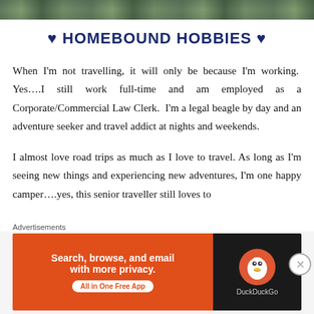[Figure (photo): Partial photo strip at top of page showing outdoor/nature scene in green tones]
♥ HOMEBOUND HOBBIES ♥
When I'm not travelling, it will only be because I'm working.  Yes….I still work full-time and am employed as a Corporate/Commercial Law Clerk.  I'm a legal beagle by day and an adventure seeker and travel addict at nights and weekends.
I almost love road trips as much as I love to travel. As long as I'm seeing new things and experiencing new adventures, I'm one happy camper….yes, this senior traveller still loves to
Advertisements
[Figure (screenshot): DuckDuckGo advertisement banner: orange left side with text 'Search, browse, and email with more privacy. All in One Free App' and black right side with DuckDuckGo duck logo]